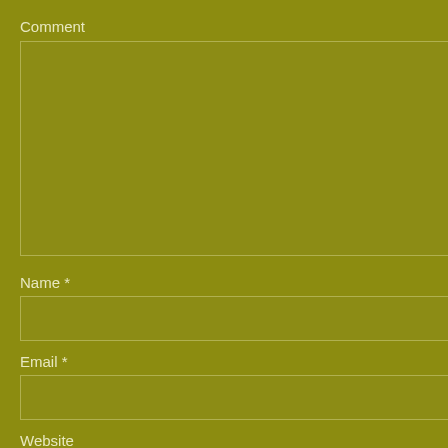Comment
[Figure (screenshot): Large textarea input box for comment entry]
Name *
[Figure (screenshot): Text input box for Name field]
Email *
[Figure (screenshot): Text input box for Email field]
Website
[Figure (screenshot): Text input box for Website field]
[Figure (screenshot): Post Comment submit button]
Notify me of follow-up comments by email.